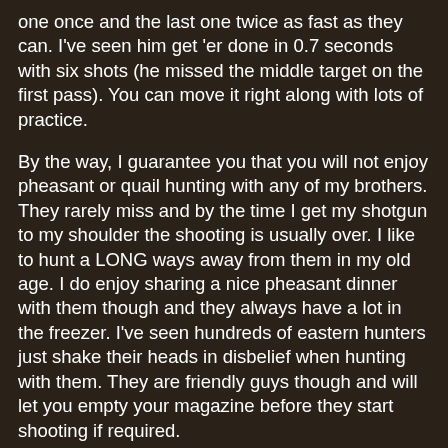one once and the last one twice as fast as they can. I've seen him get 'er done in 0.7 seconds with six shots (he missed the middle target on the first pass). You can move it right along with lots of practice.
By the way, I guarantee you that you will not enjoy pheasant or quail hunting with any of my brothers. They rarely miss and by the time I get my shotgun to my shoulder the shooting is usually over. I like to hunt a LONG ways away from them in my old age. I do enjoy sharing a nice pheasant dinner with them though and they always have a lot in the freezer. I've seen hundreds of eastern hunters just shake their heads in disbelief when hunting with them. They are friendly guys though and will let you empty your magazine before they start shooting if required.
I have noticed another phenomenon in the last